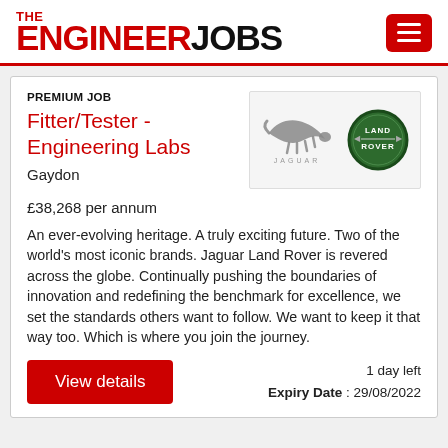THE ENGINEER JOBS
PREMIUM JOB
Fitter/Tester - Engineering Labs
Gaydon
[Figure (logo): Jaguar and Land Rover logos side by side on light grey background]
£38,268 per annum
An ever-evolving heritage. A truly exciting future. Two of the world's most iconic brands. Jaguar Land Rover is revered across the globe. Continually pushing the boundaries of innovation and redefining the benchmark for excellence, we set the standards others want to follow. We want to keep it that way too. Which is where you join the journey.
View details
1 day left
Expiry Date : 29/08/2022